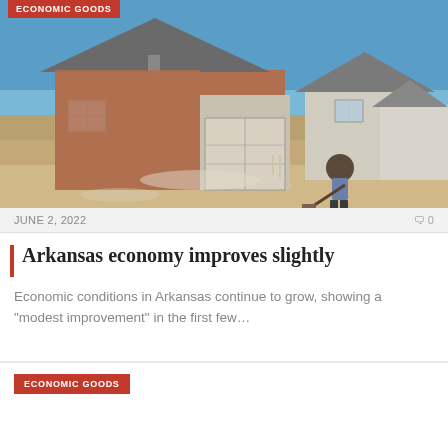[Figure (photo): Construction site photo showing a worker using a shovel in the foreground, with a partially completed brick and siding house in the background under a clear blue sky. Dirt and gravel cover the ground around the house.]
ECONOMIC GOODS
JUNE 2, 2022
0
Arkansas economy improves slightly
Economic conditions in Arkansas continue to grow, showing a “modest improvement” in the first few…
ECONOMIC GOODS